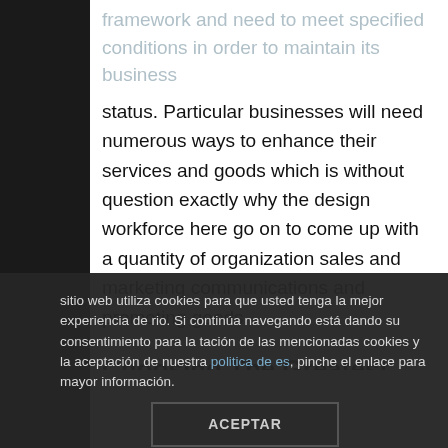framework and need to meet specified conditions in order to maintain its business status. Particular businesses will need numerous ways to enhance their services and goods which is without question exactly why the design workforce here go on to come up with a quantity of organization sales and marketing communications and promoting goods.
Choosing The Greatest Business
Advertising is the challenging component t
sitio web utiliza cookies para que usted tenga la mejor experiencia de rio. Si continúa navegando está dando su consentimiento para la tación de las mencionadas cookies y la aceptación de nuestra política de es, pinche el enlace para mayor información.
ACEPTAR